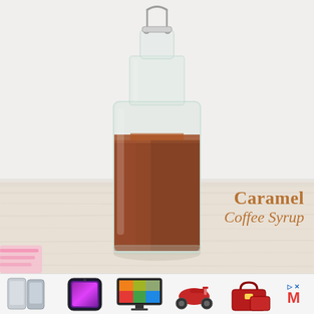[Figure (photo): A glass swing-top bottle filled with amber/brown caramel coffee syrup, sitting on a light wooden surface against a white background. The bottle has a wire bail closure at the top.]
Caramel Coffee Syrup
[Figure (photo): Advertisement bar at the bottom showing five product thumbnails: silver/blue iPhones, purple iPhone, colorful TV, red scooter, red handbags. Followed by an ad badge with arrow, x, and red M logo.]